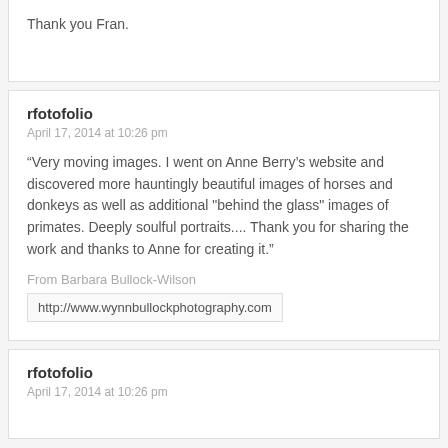Thank you Fran.
rfotofolio
April 17, 2014 at 10:26 pm
“Very moving images. I went on Anne Berry’s website and discovered more hauntingly beautiful images of horses and donkeys as well as additional "behind the glass" images of primates. Deeply soulful portraits.... Thank you for sharing the work and thanks to Anne for creating it.”
From Barbara Bullock-Wilson
http://www.wynnbullockphotography.com
rfotofolio
April 17, 2014 at 10:26 pm